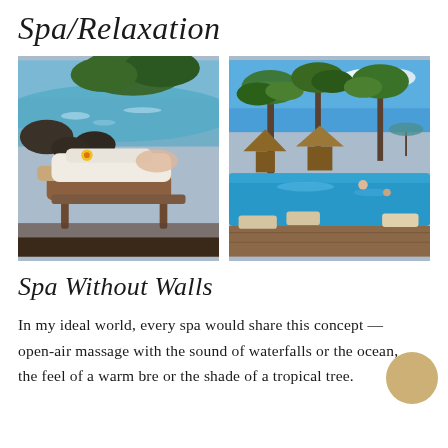Spa/Relaxation
[Figure (photo): Person lying on a massage table by a rocky ocean shore with trees, wearing a white robe with a yellow flower on the towel]
[Figure (photo): Tropical resort outdoor pool area with palm trees, lounge chairs, and people swimming under a bright blue sky]
Spa Without Walls
In my ideal world, every spa would share this concept — open-air massage with the sound of waterfalls or the ocean, the feel of a warm bre or the shade of a tropical tree.